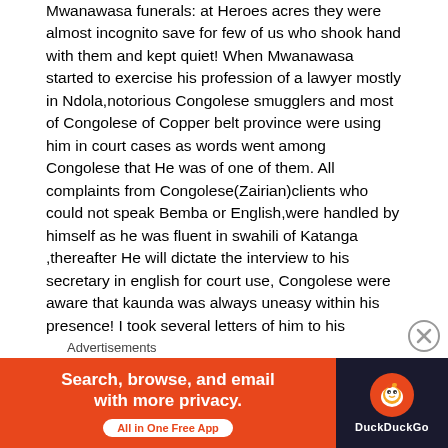Mwanawasa funerals: at Heroes acres they were almost incognito save for few of us who shook hand with them and kept quiet! When Mwanawasa started to exercise his profession of a lawyer mostly in Ndola,notorious Congolese smugglers and most of Congolese of Copper belt province were using him in court cases as words went among Congolese that He was of one of them. All complaints from Congolese(Zairian)clients who could not speak Bemba or English,were handled by himself as he was fluent in swahili of Katanga ,thereafter He will dictate the interview to his secretary in english for court use, Congolese were aware that kaunda was always uneasy within his presence! I took several letters of him to his Congolese family and to my amazement one of his young cousin Longwa was my school play mate at my primary school in Rwashi-;Lubumbashi! I used him for more than 5 times in lusaka courts for some commercial disputes, on recesses of courts we use to kill time in Ridge ways Hotel and mostly taking about Congo!
Advertisements
[Figure (screenshot): DuckDuckGo advertisement banner: orange left side with text 'Search, browse, and email with more privacy. All in One Free App' and dark right side with DuckDuckGo logo]